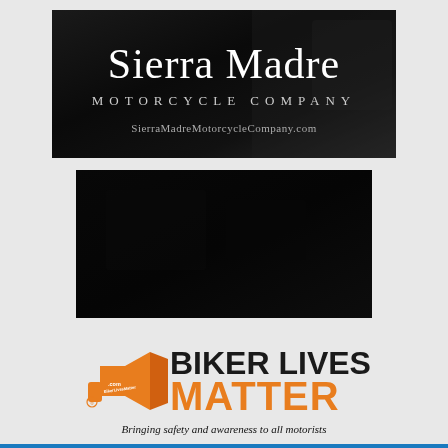[Figure (logo): Sierra Madre Motorcycle Company logo on dark background with motorcycle parts visible. White serif text reads 'Sierra Madre' large, below 'MOTORCYCLE COMPANY' in spaced caps, below 'SierraMadreMotorcycleCompany.com' in smaller text.]
[Figure (photo): Nearly all-black rectangular image, appears to be a very dark motorcycle or related photo.]
[Figure (logo): Biker Lives Matter logo. Orange megaphone icon on left with '.com' and 'BikerLivesMatter' text on it and a registered trademark symbol. Bold black text 'BIKER LIVES' and bold orange text 'MATTER' on the right. Below: italic text 'Bringing safety and awareness to all motorists'.]